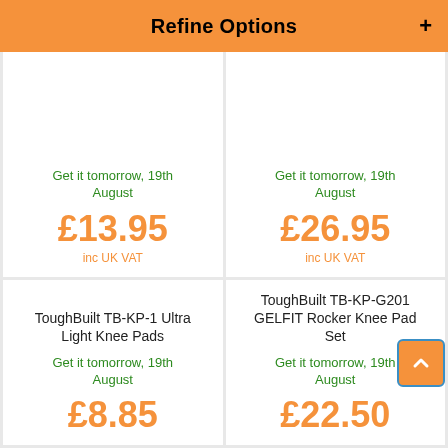Refine Options
Get it tomorrow, 19th August
£13.95 inc UK VAT
Get it tomorrow, 19th August
£26.95 inc UK VAT
ToughBuilt TB-KP-1 Ultra Light Knee Pads
Get it tomorrow, 19th August
£8.85
ToughBuilt TB-KP-G201 GELFIT Rocker Knee Pad Set
Get it tomorrow, 19th August
£22.50